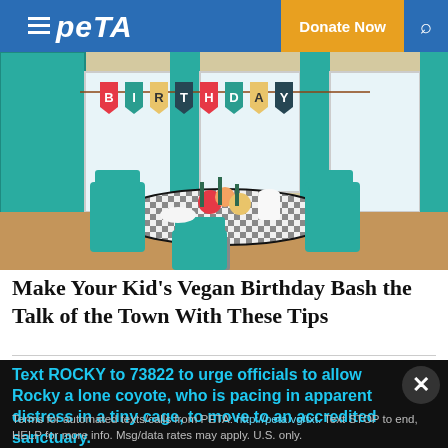PETA — Donate Now
[Figure (photo): Birthday party table scene with teal/green chairs, checkered tablecloth, colorful food and decorations, teal curtains in background, BIRTHDAY banner strung across window]
Make Your Kid's Vegan Birthday Bash the Talk of the Town With These Tips
[Figure (photo): Pink floral background image strip]
Text ROCKY to 73822 to urge officials to allow Rocky a lone coyote, who is pacing in apparent distress in a tiny cage, to move to an accredited sanctuary.
Terms for automated texts/calls from PETA: http://peta.vg/txt. Text STOP to end, HELP for more info. Msg/data rates may apply. U.S. only.